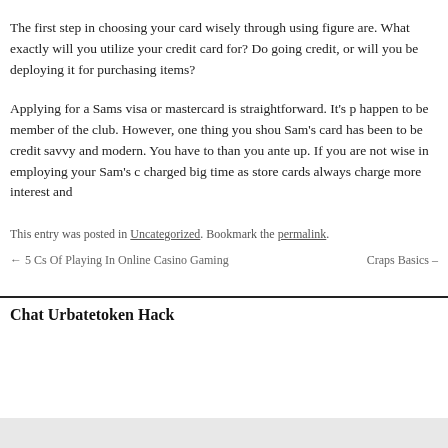The first step in choosing your card wisely through using figure are. What exactly will you utilize your credit card for? Do going credit, or will you be deploying it for purchasing items?
Applying for a Sams visa or mastercard is straightforward. It's p happen to be member of the club. However, one thing you shou Sam's card has been to be credit savvy and modern. You have to than you ante up. If you are not wise in employing your Sam's c charged big time as store cards always charge more interest and
This entry was posted in Uncategorized. Bookmark the permalink.
← 5 Cs Of Playing In Online Casino Gaming    Craps Basics –
Chat Urbatetoken Hack